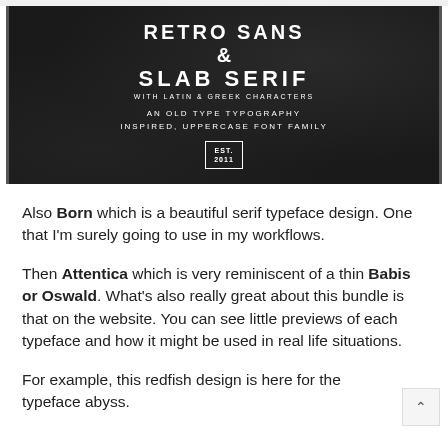[Figure (illustration): Dark banner with white text showing 'RETRO SANS & SLAB SERIF with Latin & Greek Characters — An Old Type Typography Inspired, Uppercase Font Family' with an EST. 2011 badge]
Also Born which is a beautiful serif typeface design. One that I'm surely going to use in my workflows.
Then Attentica which is very reminiscent of a thin Babis or Oswald. What's also really great about this bundle is that on the website. You can see little previews of each typeface and how it might be used in real life situations.
For example, this redfish design is here for the typeface abyss.